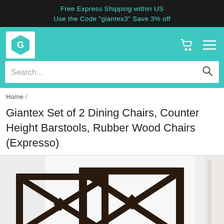Free Express Shipping within US
Use the Code "giantex3" Save 3% off
[Figure (logo): Giantex logo - hexagon with letter G, teal color]
Search...
Home /
Giantex Set of 2 Dining Chairs, Counter Height Barstools, Rubber Wood Chairs (Expresso)
[Figure (photo): Two dark espresso-colored wooden dining chairs with X-back design, viewed from behind, shown side by side on white background]
USD